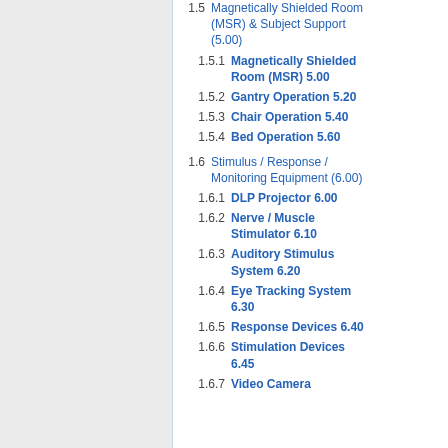1.5 Magnetically Shielded Room (MSR) & Subject Support (5.00)
1.5.1 Magnetically Shielded Room (MSR) 5.00
1.5.2 Gantry Operation 5.20
1.5.3 Chair Operation 5.40
1.5.4 Bed Operation 5.60
1.6 Stimulus / Response / Monitoring Equipment (6.00)
1.6.1 DLP Projector 6.00
1.6.2 Nerve / Muscle Stimulator 6.10
1.6.3 Auditory Stimulus System 6.20
1.6.4 Eye Tracking System 6.30
1.6.5 Response Devices 6.40
1.6.6 Stimulation Devices 6.45
1.6.7 Video Camera